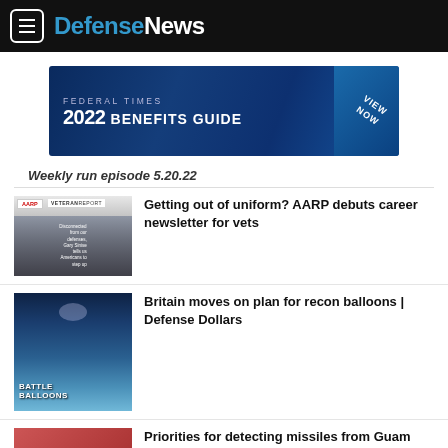DefenseNews
[Figure (screenshot): Federal Times 2022 Benefits Guide advertisement banner with VIEW NOW call to action]
Weekly run episode 5.20.22
[Figure (screenshot): AARP Veteran Report thumbnail showing a man in a suit with text overlay about disconnected from defenses]
Getting out of uniform? AARP debuts career newsletter for vets
[Figure (screenshot): Battle Balloons thumbnail showing balloons over coastal scenery]
Britain moves on plan for recon balloons | Defense Dollars
[Figure (screenshot): Partial thumbnail with orange/red background]
Priorities for detecting missiles from Guam